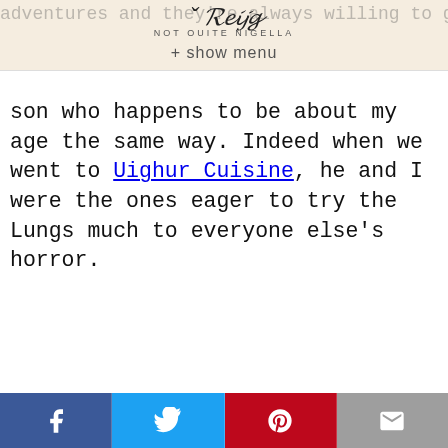Not Quite Nigella — + show menu
adventures and they're always willing to give things a go. Queen VII raised her son who happens to be about my age the same way. Indeed when we went to Uighur Cuisine, he and I were the ones eager to try the Lungs much to everyone else's horror.
Facebook | Twitter | Pinterest | Mail